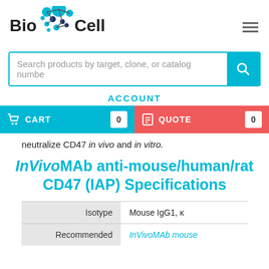[Figure (logo): Bio X Cell logo with blue molecule graphic and text]
Search products by target, clone, or catalog number
ACCOUNT
CART 0   QUOTE 0
neutralize CD47 in vivo and in vitro.
InVivoMAb anti-mouse/human/rat CD47 (IAP) Specifications
|  |  |
| --- | --- |
| Isotype | Mouse IgG1, κ |
| Recommended | InVivoMAb mouse |